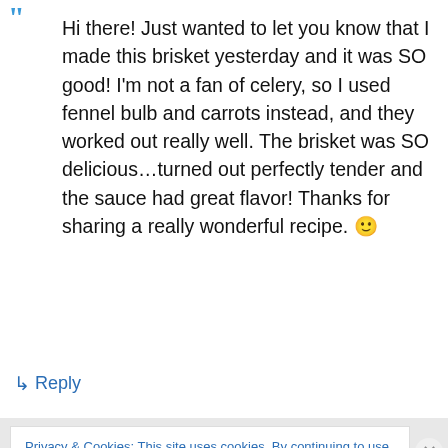Hi there! Just wanted to let you know that I made this brisket yesterday and it was SO good! I'm not a fan of celery, so I used fennel bulb and carrots instead, and they worked out really well. The brisket was SO delicious…turned out perfectly tender and the sauce had great flavor! Thanks for sharing a really wonderful recipe. 🙂
↳ Reply
Privacy & Cookies: This site uses cookies. By continuing to use this website, you agree to their use. To find out more, including how to control cookies, see here: Cookie Policy
Close and accept